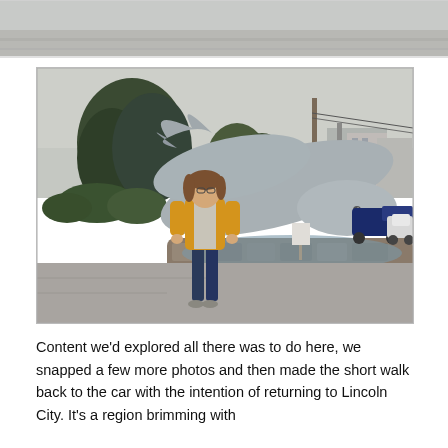[Figure (photo): Partial photo at top of page showing a sidewalk/road scene, cropped at top edge.]
[Figure (photo): Woman in yellow cardigan and jeans standing in front of a large gray whale statue/sculpture in a stone fountain basin. Trees, buildings, utility pole, and parked cars visible in the background. Overcast sky.]
Content we’d explored all there was to do here, we snapped a few more photos and then made the short walk back to the car with the intention of returning to Lincoln City. It’s a region brimming with